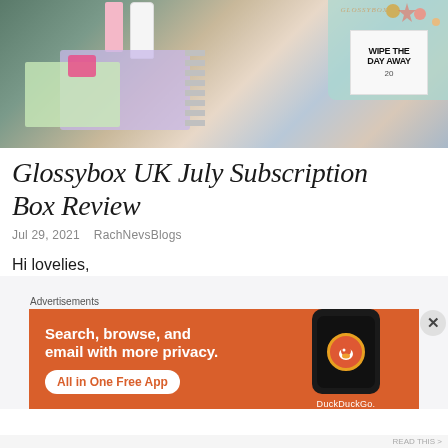[Figure (photo): Photo of Glossybox UK July subscription box contents spread on a table, including beauty products, a spiral-bound planner, a teal Glossybox box, pink packaging, a white bottle, a lip product, and a 'Wipe The Day Away' card.]
Glossybox UK July Subscription Box Review
Jul 29, 2021   RachNevsBlogs
Hi lovelies,
Advertisements
[Figure (screenshot): DuckDuckGo advertisement banner with orange background. Text: 'Search, browse, and email with more privacy. All in One Free App'. Shows a phone mockup with DuckDuckGo logo and brand name.]